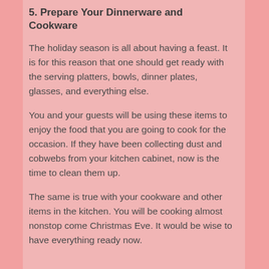5. Prepare Your Dinnerware and Cookware
The holiday season is all about having a feast. It is for this reason that one should get ready with the serving platters, bowls, dinner plates, glasses, and everything else.
You and your guests will be using these items to enjoy the food that you are going to cook for the occasion. If they have been collecting dust and cobwebs from your kitchen cabinet, now is the time to clean them up.
The same is true with your cookware and other items in the kitchen. You will be cooking almost nonstop come Christmas Eve. It would be wise to have everything ready now.